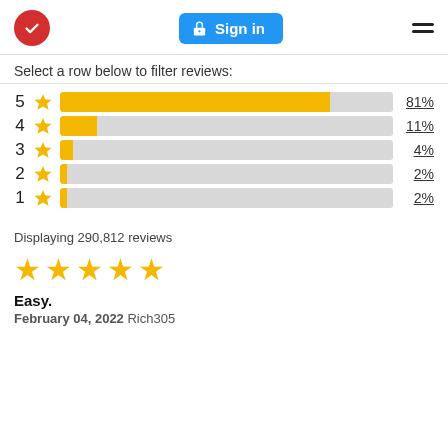Logo | Sign in | Menu
Select a row below to filter reviews:
[Figure (bar-chart): Rating distribution]
Displaying 290,812 reviews
[Figure (other): 5-star rating (5 filled gold stars)]
Easy.
February 04, 2022 Rich305